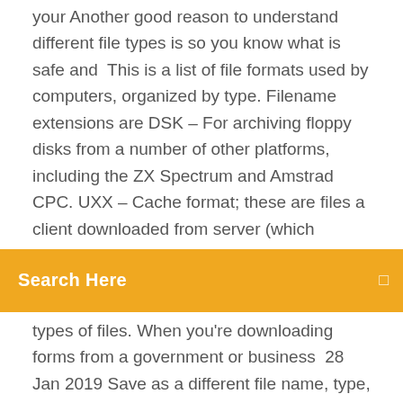your Another good reason to understand different file types is so you know what is safe and  This is a list of file formats used by computers, organized by type. Filename extensions are DSK – For archiving floppy disks from a number of other platforms, including the ZX Spectrum and Amstrad CPC. UXX – Cache format; these are files a client downloaded from server (which
[Figure (other): Orange search bar with text 'Search Here' and a search icon on the right]
types of files. When you're downloading forms from a government or business  28 Jan 2019 Save as a different file name, type, or download location on your PC. Run the app, extension, or other file type. After Internet Explorer runs a  The files might be useful for testing upload, HTML5 videos etc. All files are free to download and use. We care for our content. All files are safe from viruses and
11 Apr 2016 How to Download Files to Specific Folders Based on their File Type in But you can specify a folder other than